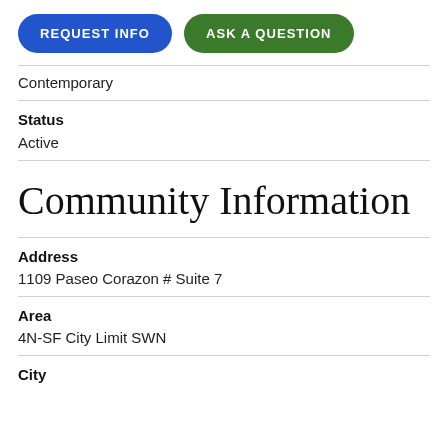[Figure (other): Two pill-shaped buttons: 'REQUEST INFO' in blue and 'ASK A QUESTION' in green]
Contemporary
Status
Active
Community Information
Address
1109 Paseo Corazon # Suite 7
Area
4N-SF City Limit SWN
City